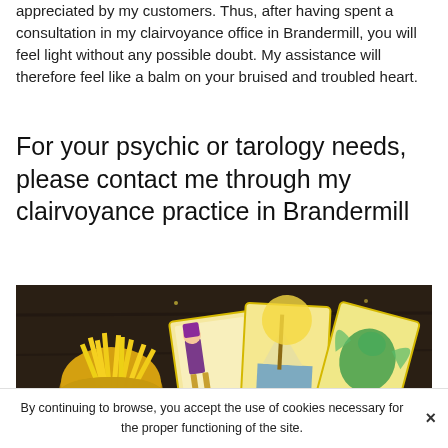appreciated by my customers. Thus, after having spent a consultation in my clairvoyance office in Brandermill, you will feel light without any possible doubt. My assistance will therefore feel like a balm on your bruised and troubled heart.
For your psychic or tarology needs, please contact me through my clairvoyance practice in Brandermill
[Figure (photo): Photo of tarot cards spread on a dark wooden table, with a decorative bowl of yellow candles, crystal balls, and colorful illustrated tarot cards visible.]
By continuing to browse, you accept the use of cookies necessary for the proper functioning of the site.